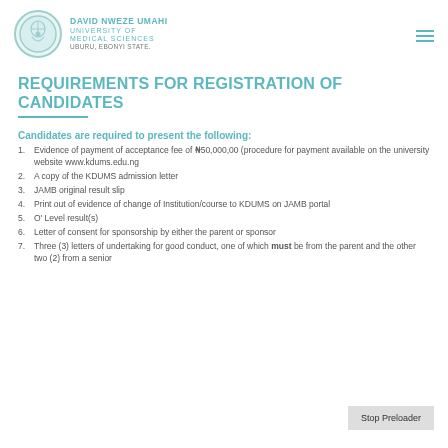DAVID NWEZE UMAHI UNIVERSITY OF MEDICAL SCIENCES UBURU, EBONYI STATE.
REQUIREMENTS FOR REGISTRATION OF CANDIDATES
Candidates are required to present the following:
Evidence of payment of acceptance fee of ₦50,000,00 (procedure for payment available on the university website www.kdums.edu.ng
A copy of the KDUMS admission letter
JAMB original result slip
Print out of evidence of change of Institution/course to KDUMS on JAMB portal
O' Level result(s)
Letter of consent for sponsorship by either the parent or sponsor
Three (3) letters of undertaking for good conduct, one of which must be from the parent and the other two (2) from a senior